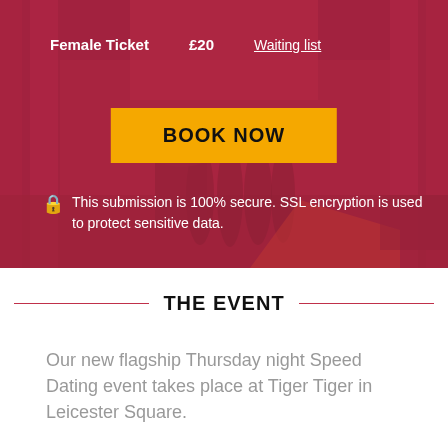[Figure (photo): Hero image of an ornate interior venue (church/hall) with people standing, overlaid with a deep pink/crimson color wash. Contains ticket info, a Book Now button, and a security notice.]
Female Ticket   £20   Waiting list
BOOK NOW
🔒 This submission is 100% secure. SSL encryption is used to protect sensitive data.
THE EVENT
Our new flagship Thursday night Speed Dating event takes place at Tiger Tiger in Leicester Square.